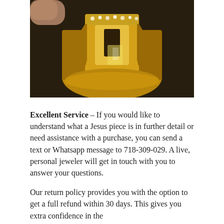[Figure (photo): Close-up photo of a gold Jesus face ring with diamond/crystal studded crown, held against a dark background. The ring features a detailed sculpted face of Jesus with golden hair/beard details and reflective gold surfaces.]
Excellent Service – If you would like to understand what a Jesus piece is in further detail or need assistance with a purchase, you can send a text or Whatsapp message to 718-309-029. A live, personal jeweler will get in touch with you to answer your questions. Our return policy provides you with the option to get a full refund within 30 days. This gives you extra confidence in the